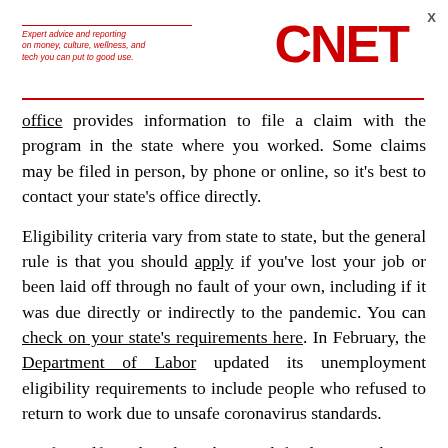[Figure (logo): CNET logo with red text and tagline: Expert advice and reporting on money, culture, wellness, and tech you can put to good use.]
office provides information to file a claim with the program in the state where you worked. Some claims may be filed in person, by phone or online, so it's best to contact your state's office directly.
Eligibility criteria vary from state to state, but the general rule is that you should apply if you've lost your job or been laid off through no fault of your own, including if it was due directly or indirectly to the pandemic. You can check on your state's requirements here. In February, the Department of Labor updated its unemployment eligibility requirements to include people who refused to return to work due to unsafe coronavirus standards.
As for self-employed workers and freelancers who are losing PUA coverage, some online groups are calling to extend pandemic unemployment programs through